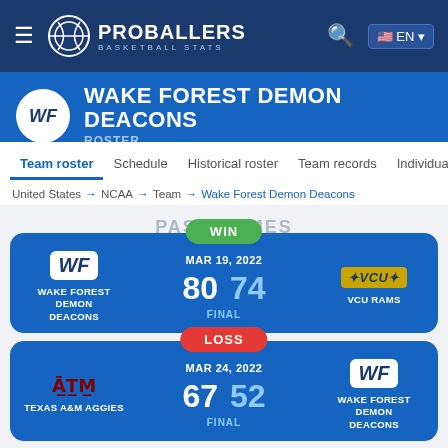[Figure (logo): Proballers Basketball Stats navigation bar with hamburger menu, basketball logo, PROBALLERS BASKETBALL STATS brand, search icon, and EN language selector]
WAKE FOREST DEMON DEACONS
ROSTER
Team roster  Schedule  Historical roster  Team records  Individual records
United States → NCAA → Team → Wake Forest Demon Deacons
PAST GAMES
| Team | Date/Score | Opponent |
| --- | --- | --- |
| WAKE FOREST DEMON DEACONS | WIN
MAR 19, 2022
80  74
FINAL | VCU RAMS |
| TEXAS A&M AGGIES | LOSS
MAR 24, 2022
67  52
FINAL | WAKE FOREST DEMON DEACONS |